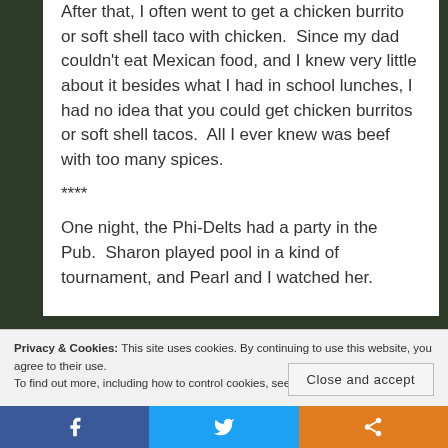After that, I often went to get a chicken burrito or soft shell taco with chicken. Since my dad couldn't eat Mexican food, and I knew very little about it besides what I had in school lunches, I had no idea that you could get chicken burritos or soft shell tacos. All I ever knew was beef with too many spices.
****
One night, the Phi-Delts had a party in the Pub. Sharon played pool in a kind of tournament, and Pearl and I watched her.
Privacy & Cookies: This site uses cookies. By continuing to use this website, you agree to their use.
To find out more, including how to control cookies, see here: Cookie Policy
Close and accept